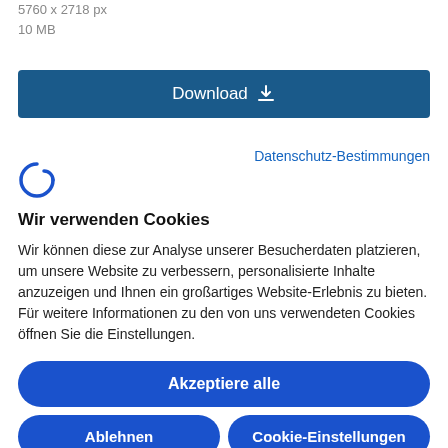5760 x 2718 px
10 MB
Download
Datenschutz-Bestimmungen
[Figure (logo): Cookiebot logo icon - stylized C with curved line]
Wir verwenden Cookies
Wir können diese zur Analyse unserer Besucherdaten platzieren, um unsere Website zu verbessern, personalisierte Inhalte anzuzeigen und Ihnen ein großartiges Website-Erlebnis zu bieten. Für weitere Informationen zu den von uns verwendeten Cookies öffnen Sie die Einstellungen.
Akzeptiere alle
Ablehnen
Cookie-Einstellungen